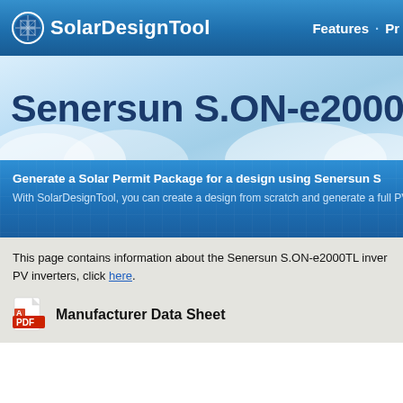[Figure (logo): SolarDesignTool logo with solar panel icon and navigation bar showing Features link]
Senersun S.ON-e2000T
Generate a Solar Permit Package for a design using Senersun S...
With SolarDesignTool, you can create a design from scratch and generate a full PV permit...
This page contains information about the Senersun S.ON-e2000TL inver... PV inverters, click here.
[Figure (logo): PDF icon for Manufacturer Data Sheet]
Manufacturer Data Sheet